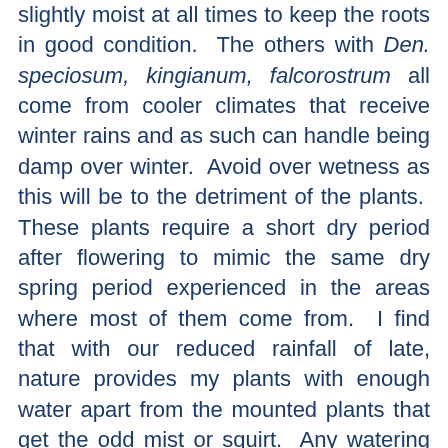slightly moist at all times to keep the roots in good condition. The others with Den. speciosum, kingianum, falcorostrum all come from cooler climates that receive winter rains and as such can handle being damp over winter. Avoid over wetness as this will be to the detriment of the plants. These plants require a short dry period after flowering to mimic the same dry spring period experienced in the areas where most of them come from. I find that with our reduced rainfall of late, nature provides my plants with enough water apart from the mounted plants that get the odd mist or squirt. Any watering should be confined to the warmer part of the day after lunch. Early morning squirts with water from